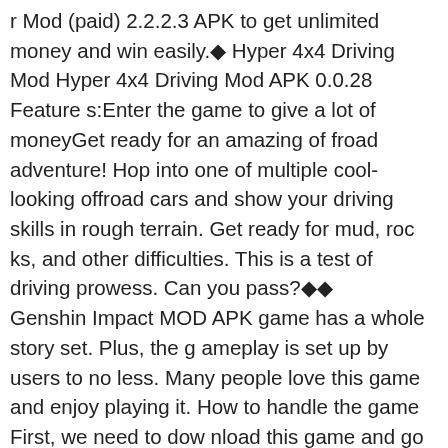r Mod (paid) 2.2.2.3 APK to get unlimited money and win easily.🔹 Hyper 4x4 Driving Mod Hyper 4x4 Driving Mod APK 0.0.28 Features:Enter the game to give a lot of moneyGet ready for an amazing offroad adventure! Hop into one of multiple cool-looking offroad cars and show your driving skills in rough terrain. Get ready for mud, rocks, and other difficulties. This is a test of driving prowess. Can you pass?🔹🔹
Genshin Impact MOD APK game has a whole story set. Plus, the gameplay is set up by users to no less. Many people love this game and enjoy playing it. How to handle the game First, we need to download this game and go into it. After leaving, we will have many obstacles. We need to overcome these obstacles and carry on this game. In doing so, we get a variety of prizes and rewards, and we can use them to move on to the next round of the game. There will be two people in this game, and the purpose of this game is to tell the adventure journey of those two people who are brother and sister 2. Even people who have never played this game before can learn